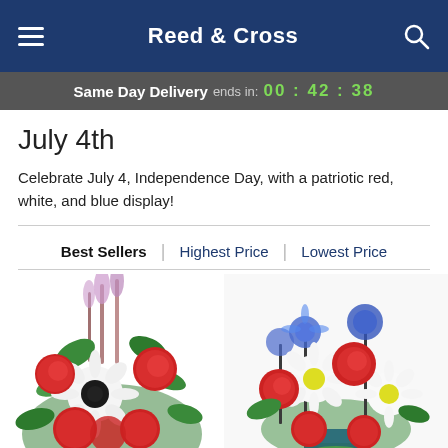Reed & Cross
Same Day Delivery ends in: 00:42:38
July 4th
Celebrate July 4, Independence Day, with a patriotic red, white, and blue display!
Best Sellers | Highest Price | Lowest Price
[Figure (photo): Red carnations and white gerbera daisy flower arrangement]
[Figure (photo): Patriotic red rose, white daisy, and blue thistle flower bouquet in blue vase]